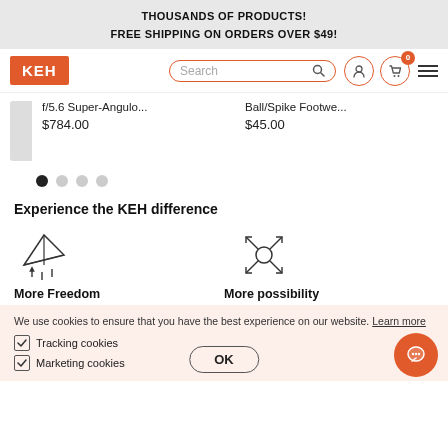THOUSANDS OF PRODUCTS!
FREE SHIPPING ON ORDERS OVER $49!
[Figure (screenshot): KEH camera store navigation bar with logo, search bar, user icon, cart icon (badge 0), and hamburger menu]
f/5.6 Super-Angulo...
$784.00
Ball/Spike Footwe...
$45.00
[Figure (other): Carousel pagination dots: 4 dots, first one filled/active]
Experience the KEH difference
[Figure (illustration): Paper airplane / cursor icon representing More Freedom]
More Freedom
[Figure (illustration): Expand/move arrows icon representing More possibility]
More possibility
We use cookies to ensure that you have the best experience on our website. Learn more
Tracking cookies
Marketing cookies
OK